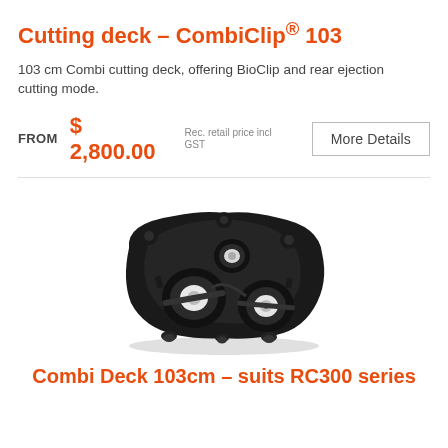Cutting deck – CombiClip® 103
103 cm Combi cutting deck, offering BioClip and rear ejection cutting mode.
FROM  $ 2,800.00  Rec. retail price incl GST
[Figure (photo): Product photo of a black CombiClip 103 cutting deck viewed from below, showing dual blade spindles, mounting hardware, and caster wheels.]
Combi Deck 103cm – suits RC300 series